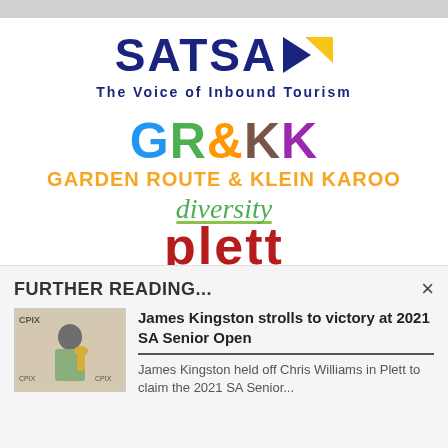[Figure (logo): SATSA logo with dark blue bold text 'SATSA' followed by two arrow shapes (dark blue and yellow triangle), tagline 'The Voice of Inbound Tourism' in dark blue]
[Figure (logo): Garden Route & Klein Karoo logo with colorful 'GR&KK' letters, orange text 'GARDEN ROUTE & KLEIN KAROO', green italic 'diversity' text, and red 'plett' text]
FURTHER READING...
[Figure (photo): Thumbnail photo of a person holding a trophy at what appears to be a golf event, with CPIX branding in the background]
James Kingston strolls to victory at 2021 SA Senior Open
James Kingston held off Chris Williams in Plett to claim the 2021 SA Senior...